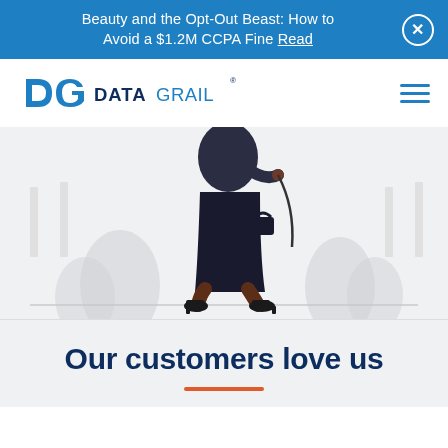Beauty and the Opt-Out Beast: How to Avoid a $1.2M CCPA Fine Read
[Figure (logo): DataGrail logo with DG icon in blue and wordmark DATAGRAIL in navy and blue]
[Figure (illustration): Illustrated figure of a professional woman walking, wearing dark business attire, viewed from mid-torso down, with decorative plant silhouettes on a light gray background]
Our customers love us